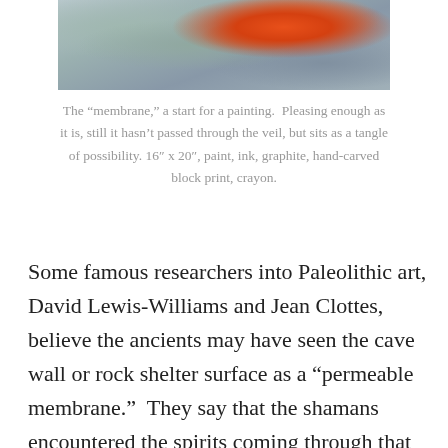[Figure (photo): Close-up photograph of an abstract painting or mixed-media artwork showing orange, red, and coral textured forms against a grey-blue background, resembling organic or coral-like shapes.]
The “membrane,” a start for a painting.  Pleasing enough as it is, still it hasn’t passed through the veil, but sits as a tangle of possibility. 16″ x 20″, paint, ink, graphite, hand-carved block print, crayon.
Some famous researchers into Paleolithic art, David Lewis-Williams and Jean Clottes, believe the ancients may have seen the cave wall or rock shelter surface as a “permeable membrane.”  They say that the shamans encountered the spirits coming through that threshhold and, I suppose, immortalized their visions on the